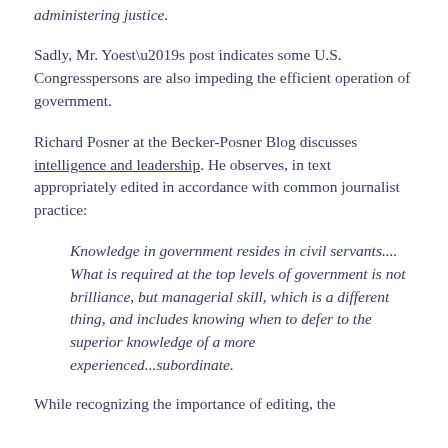administering justice.
Sadly, Mr. Yoest’s post indicates some U.S. Congresspersons are also impeding the efficient operation of government.
Richard Posner at the Becker-Posner Blog discusses intelligence and leadership. He observes, in text appropriately edited in accordance with common journalist practice:
Knowledge in government resides in civil servants.... What is required at the top levels of government is not brilliance, but managerial skill, which is a different thing, and includes knowing when to defer to the superior knowledge of a more experienced...subordinate.
While recognizing the importance of editing, the